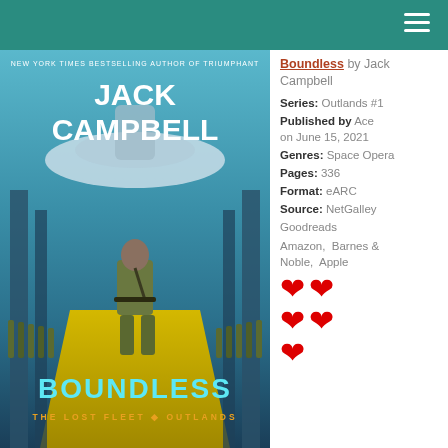[Figure (illustration): Book cover for 'Boundless' by Jack Campbell. Shows a soldier walking away from the viewer down a corridor lined with troops, with a large futuristic structure overhead. Text: NEW YORK TIMES BESTSELLING AUTHOR OF TRIUMPHANT / JACK CAMPBELL / BOUNDLESS / THE LOST FLEET • OUTLANDS]
Boundless by Jack Campbell
Series: Outlands #1
Published by Ace on June 15, 2021
Genres: Space Opera
Pages: 336
Format: eARC
Source: NetGalley
Goodreads
Amazon,  Barnes & Noble,  Apple
[Figure (illustration): Five red heart emojis arranged in a 2-2-1 pattern indicating a rating]